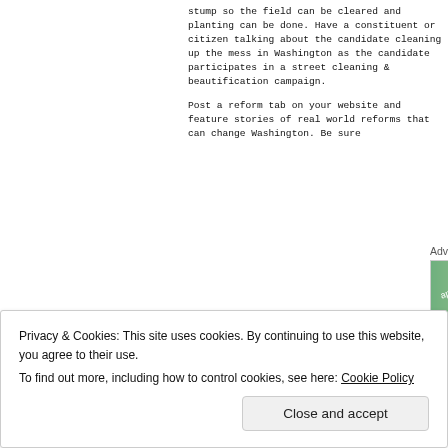stump so the field can be cleared and planting can be done. Have a constituent or citizen talking about the candidate cleaning up the mess in Washington as the candidate participates in a street cleaning & beautification campaign.
Post a reform tab on your website and feature stories of real world reforms that can change Washington. Be sure
[Figure (screenshot): Advertisements banner showing WordPress VIP logo with text 'Wvip' and partially visible logos for slack, Facebook, and 'Learn' text]
Privacy & Cookies: This site uses cookies. By continuing to use this website, you agree to their use.
To find out more, including how to control cookies, see here: Cookie Policy